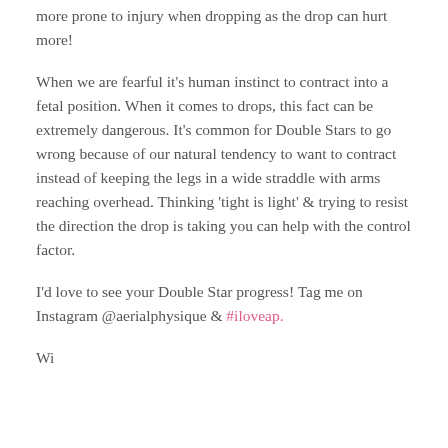more prone to injury when dropping as the drop can hurt more!
When we are fearful it's human instinct to contract into a fetal position. When it comes to drops, this fact can be extremely dangerous. It's common for Double Stars to go wrong because of our natural tendency to want to contract instead of keeping the legs in a wide straddle with arms reaching overhead. Thinking 'tight is light' & trying to resist the direction the drop is taking you can help with the control factor.
I'd love to see your Double Star progress! Tag me on Instagram @aerialphysique & #iloveap.
Wi...